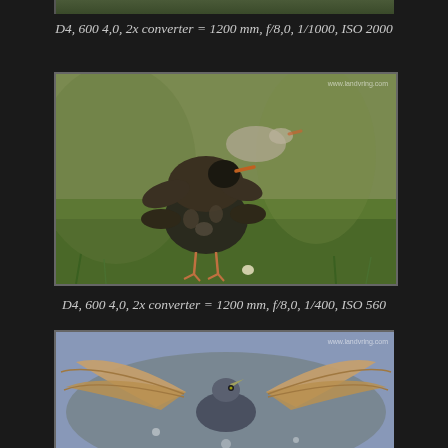[Figure (photo): Top portion of a bird photo on dark background, partially cropped at top of page]
D4, 600 4,0, 2x converter = 1200 mm, f/8,0, 1/1000, ISO 2000
[Figure (photo): Bird (ruff/wader) with ruffled dark spotted plumage standing on green grass, another bird blurred in background, watermark www.landvring.com]
D4, 600 4,0, 2x converter = 1200 mm, f/8,0, 1/400, ISO 560
[Figure (photo): Bird with wings spread open photographed from below/front, watermark www.landvring.com, partially cropped at bottom]